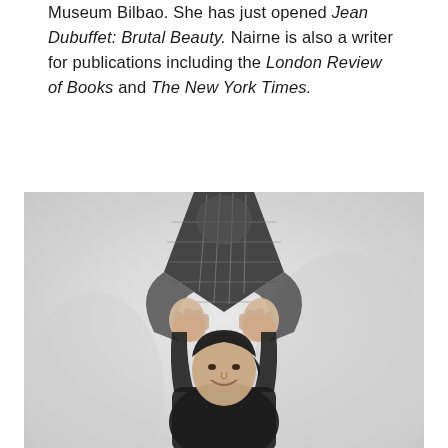Museum Bilbao. She has just opened Jean Dubuffet: Brutal Beauty. Nairne is also a writer for publications including the London Review of Books and The New York Times.
[Figure (photo): Black and white photograph of a woman smiling, holding up a large net or mesh bag above her head with both hands raised. She is wearing a dark top. The background is a light, plain studio setting.]